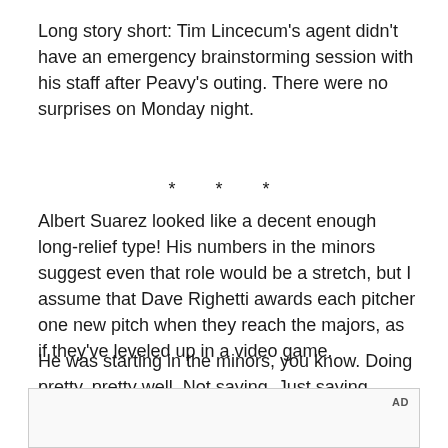Long story short: Tim Lincecum's agent didn't have an emergency brainstorming session with his staff after Peavy's outing. There were no surprises on Monday night.
* * *
Albert Suarez looked like a decent enough long-relief type! His numbers in the minors suggest even that role would be a stretch, but I assume that Dave Righetti awards each pitcher one new pitch when they reach the majors, as if they've leveled up in a video game.
He was starting in the minors, you know. Doing pretty, pretty well. Not saying. Just saying.
[Figure (other): Advertisement placeholder box with 'AD' label in top right corner]